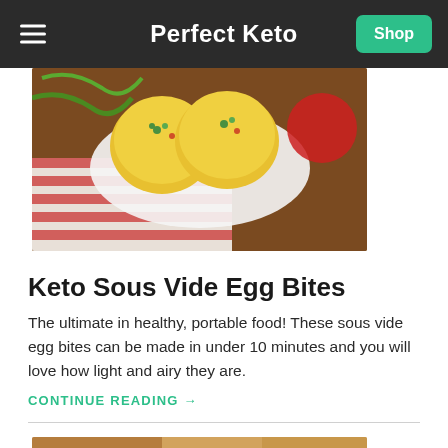Perfect Keto
[Figure (photo): Keto sous vide egg bites on a white plate, with egg bites covered in yellow cheese sauce topped with green herbs. Red and white striped cloth napkin underneath. Green garnish visible. Red tomato in background.]
Keto Sous Vide Egg Bites
The ultimate in healthy, portable food! These sous vide egg bites can be made in under 10 minutes and you will love how light and airy they are.
CONTINUE READING →
[Figure (photo): Partial view of another food dish at the bottom of the page, cropped.]